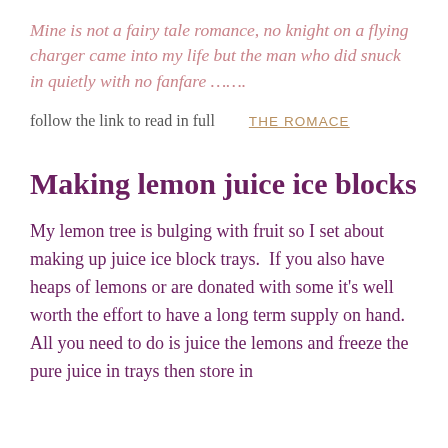Mine is not a fairy tale romance, no knight on a flying charger came into my life but the man who did snuck in quietly with no fanfare …….
follow the link to read in full   THE ROMACE
Making lemon juice ice blocks
My lemon tree is bulging with fruit so I set about making up juice ice block trays.  If you also have heaps of lemons or are donated with some it's well worth the effort to have a long term supply on hand.  All you need to do is juice the lemons and freeze the pure juice in trays then store in